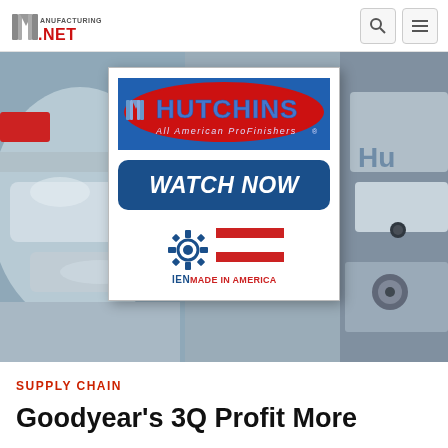Manufacturing.NET
[Figure (photo): Hero background image of shiny chrome industrial/automotive parts]
[Figure (advertisement): Hutchins All American ProFinishers ad with Watch Now button and Made in America badge]
SUPPLY CHAIN
Goodyear's 3Q Profit More